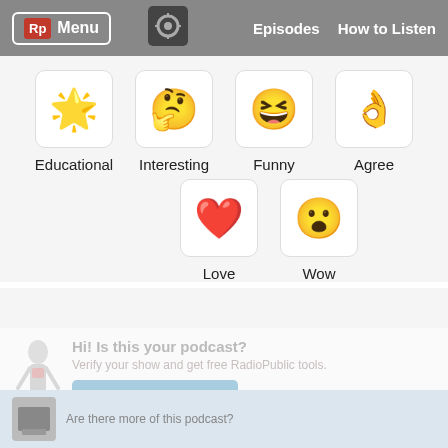Rp Menu | Episodes | How to Listen
[Figure (screenshot): Emoji reaction grid with Educational (star emoji), Interesting (thinking emoji), Funny (laughing emoji), Agree (ok hand emoji), Love (heart emoji), Wow (surprised face emoji)]
Hi! Is this your podcast?
Verify your show and get free RadioPublic tools.
Get started